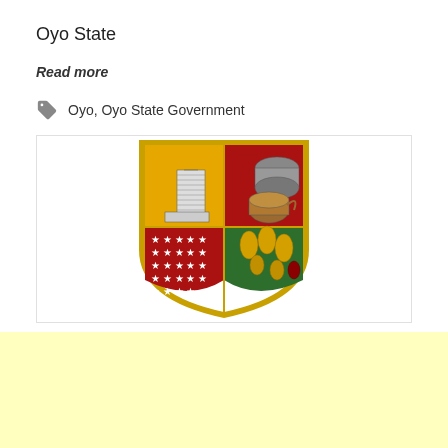Oyo State
Read more
Oyo, Oyo State Government
[Figure (illustration): Coat of arms of Oyo State, Nigeria. A shield divided into four quadrants: top-left gold background with a modern tall building (secretariat); top-right red background with a wooden log and traditional clay pot; bottom-left red background with rows of white five-pointed stars; bottom-right green background with cocoa pods, kola nuts and other agricultural produce. The shield has a gold border.]
[Figure (other): Light yellow advertisement banner area at the bottom of the page.]